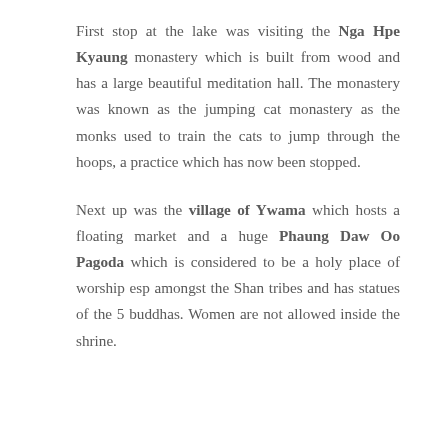First stop at the lake was visiting the Nga Hpe Kyaung monastery which is built from wood and has a large beautiful meditation hall. The monastery was known as the jumping cat monastery as the monks used to train the cats to jump through the hoops, a practice which has now been stopped.
Next up was the village of Ywama which hosts a floating market and a huge Phaung Daw Oo Pagoda which is considered to be a holy place of worship esp amongst the Shan tribes and has statues of the 5 buddhas. Women are not allowed inside the shrine.